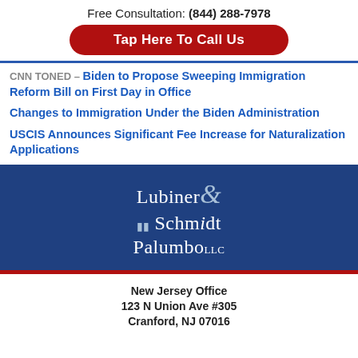Free Consultation: (844) 288-7978
Tap Here To Call Us
CNN TONED – Biden to Propose Sweeping Immigration Reform Bill on First Day in Office
Changes to Immigration Under the Biden Administration
USCIS Announces Significant Fee Increase for Naturalization Applications
[Figure (logo): Lubiner Schmidt & Palumbo LLC law firm logo in white text on dark blue background]
New Jersey Office
123 N Union Ave #305
Cranford, NJ 07016